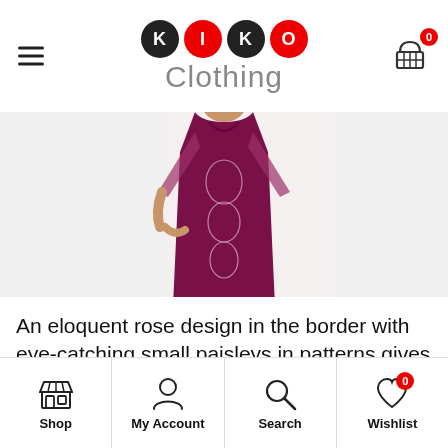[Figure (logo): KIKO Clothing logo with four circles (K black, I red, K black, O red) and 'Clothing' text below in gray]
[Figure (photo): Woman wearing a maroon/burgundy embroidered long kurta with floral rose pattern and sheer sleeves, photographed from head to knees]
An eloquent rose design in the border with eye-catching small paisleys in patterns gives a natural feel
[Figure (infographic): Bottom navigation bar with Shop, My Account, Search, and Wishlist (badge: 0) icons]